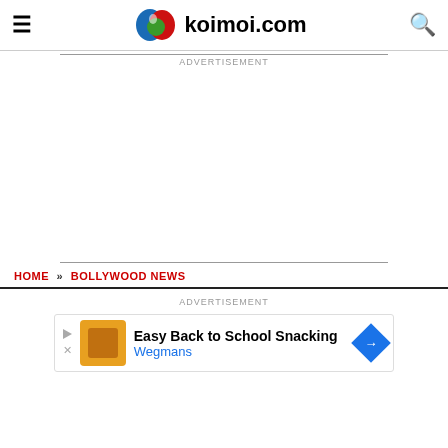koimoi.com
ADVERTISEMENT
HOME » BOLLYWOOD NEWS
ADVERTISEMENT
[Figure (other): Advertisement banner: Easy Back to School Snacking - Wegmans with orange thumbnail, play/close controls and blue diamond arrow icon]